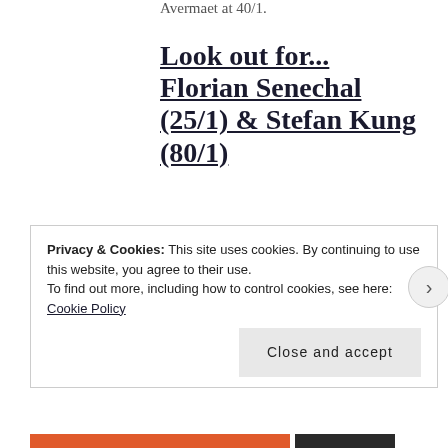Avermaet at 40/1.
Look out for... Florian Senechal (25/1) & Stefan Kung (80/1)
Two completely different riders finish my picks for Ronde. One will be in the cosy
Privacy & Cookies: This site uses cookies. By continuing to use this website, you agree to their use.
To find out more, including how to control cookies, see here: Cookie Policy
Close and accept